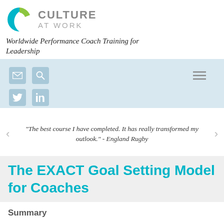[Figure (logo): Culture At Work logo with teal/green C icon and grey text reading CULTURE AT WORK]
Worldwide Performance Coach Training for Leadership
[Figure (screenshot): Navigation bar with email icon, search icon, hamburger menu, Twitter bird icon, LinkedIn icon on light blue background]
“The best course I have completed. It has really transformed my outlook.” - England Rugby
The EXACT Goal Setting Model for Coaches
Summary